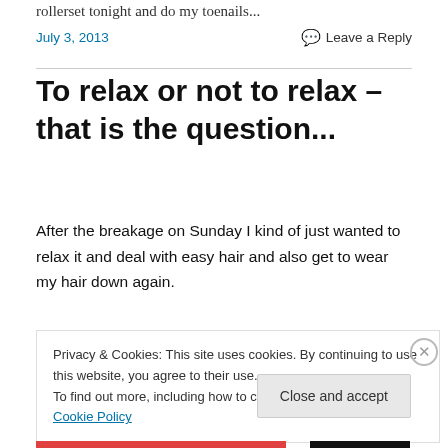rollerset tonight and do my toenails...
July 3, 2013
Leave a Reply
To relax or not to relax – that is the question...
After the breakage on Sunday I kind of just wanted to relax it and deal with easy hair and also get to wear my hair down again.
Privacy & Cookies: This site uses cookies. By continuing to use this website, you agree to their use.
To find out more, including how to control cookies, see here: Cookie Policy
Close and accept